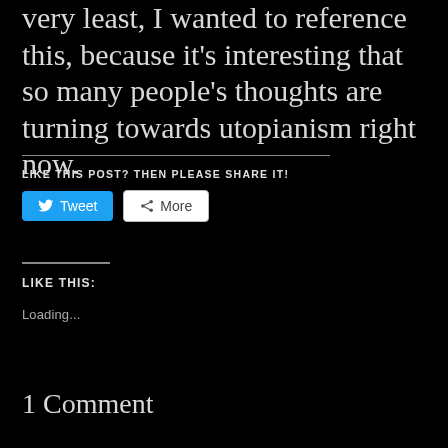very least, I wanted to reference this, because it's interesting that so many people's thoughts are turning towards utopianism right now.
LIKE THIS POST? THEN PLEASE SHARE IT!
[Figure (other): Tweet and More share buttons]
LIKE THIS:
Loading...
1 Comment